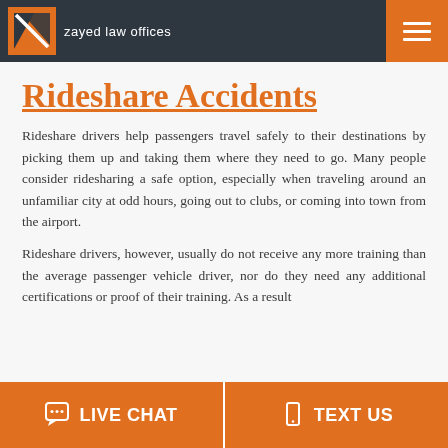zayed law offices
Rideshare Accidents
Rideshare drivers help passengers travel safely to their destinations by picking them up and taking them where they need to go. Many people consider ridesharing a safe option, especially when traveling around an unfamiliar city at odd hours, going out to clubs, or coming into town from the airport.
Rideshare drivers, however, usually do not receive any more training than the average passenger vehicle driver, nor do they need any additional certifications or proof of their training. As a result
LIVE CHAT   TEXT US